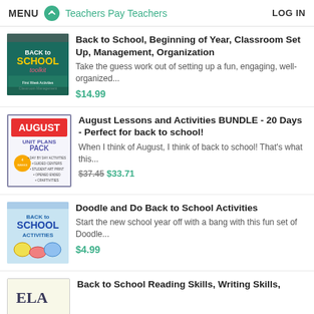MENU  Teachers Pay Teachers  LOG IN
Back to School, Beginning of Year, Classroom Set Up, Management, Organization
Take the guess work out of setting up a fun, engaging, well-organized...
$14.99
August Lessons and Activities BUNDLE - 20 Days - Perfect for back to school!
When I think of August, I think of back to school! That's what this...
$37.45 $33.71
Doodle and Do Back to School Activities
Start the new school year off with a bang with this fun set of Doodle...
$4.99
Back to School Reading Skills, Writing Skills,